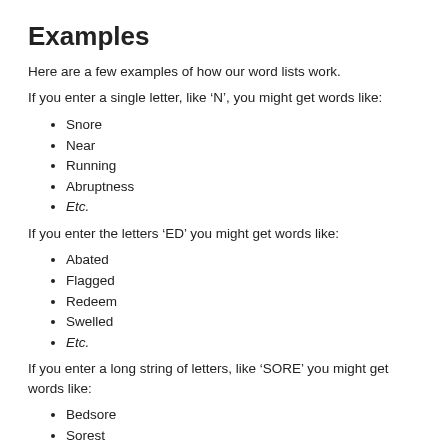Examples
Here are a few examples of how our word lists work.
If you enter a single letter, like ‘N’, you might get words like:
Snore
Near
Running
Abruptness
Etc.
If you enter the letters ‘ED’ you might get words like:
Abated
Flagged
Redeem
Swelled
Etc.
If you enter a long string of letters, like ‘SORE’ you might get words like:
Bedsore
Sorest